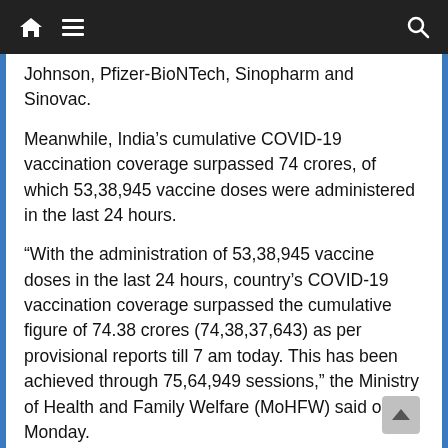Navigation bar with home, menu, and search icons
Johnson, Pfizer-BioNTech, Sinopharm and Sinovac.
Meanwhile, India's cumulative COVID-19 vaccination coverage surpassed 74 crores, of which 53,38,945 vaccine doses were administered in the last 24 hours.
“With the administration of 53,38,945 vaccine doses in the last 24 hours, country’s COVID-19 vaccination coverage surpassed the cumulative figure of 74.38 crores (74,38,37,643) as per provisional reports till 7 am today. This has been achieved through 75,64,949 sessions,” the Ministry of Health and Family Welfare (MoHFW) said on Monday.